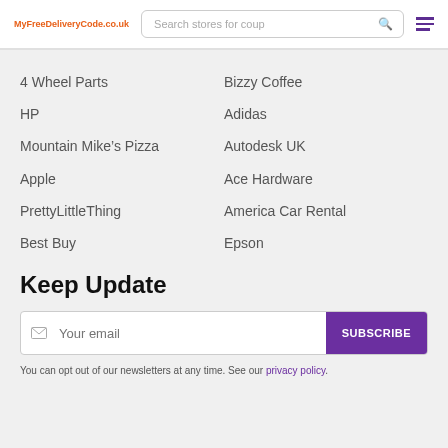MyFreeDeliveryCode.co.uk
4 Wheel Parts
Bizzy Coffee
HP
Adidas
Mountain Mike’s Pizza
Autodesk UK
Apple
Ace Hardware
PrettyLittleThing
America Car Rental
Best Buy
Epson
Keep Update
You can opt out of our newsletters at any time. See our privacy policy.